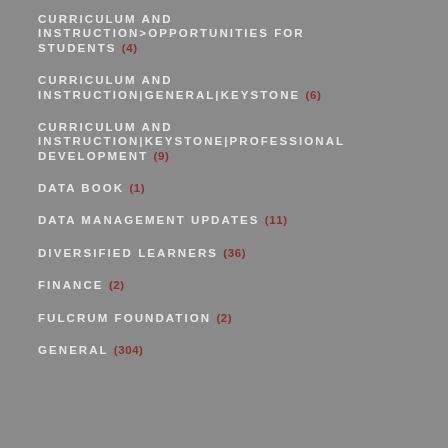CURRICULUM AND INSTRUCTION>OPPORTUNITIES FOR STUDENTS (4)
CURRICULUM AND INSTRUCTION|GENERAL|KEYSTONE (6)
CURRICULUM AND INSTRUCTION|KEYSTONE|PROFESSIONAL DEVELOPMENT (9)
DATA BOOK (1)
DATA MANAGEMENT UPDATES (11)
DIVERSIFIED LEARNERS (36)
FINANCE (2)
FULCRUM FOUNDATION (2)
GENERAL (304)